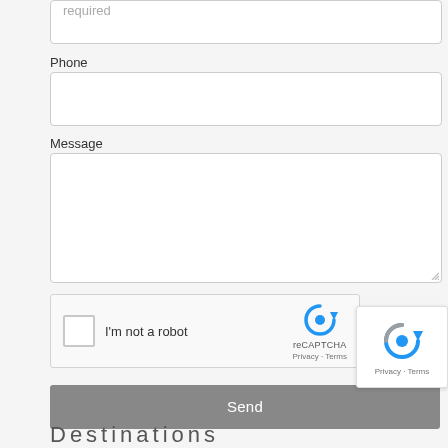[Figure (screenshot): A web contact form showing a text input field with placeholder 'required', a Phone label and empty input, a Message label and textarea, a reCAPTCHA widget with checkbox 'I'm not a robot', a Send button, and a Destinations section header. A reCAPTCHA overlay appears in the bottom right corner.]